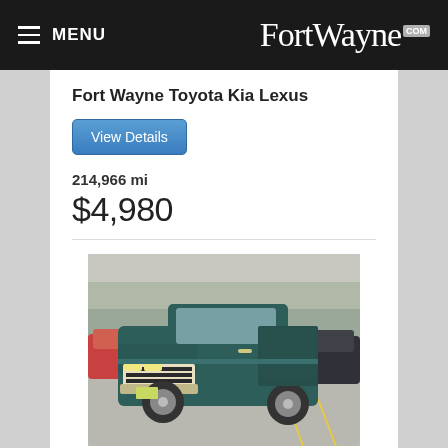MENU FortWayne.com
Fort Wayne Toyota Kia Lexus
View Details
214,966 mi
$4,980
[Figure (photo): 1996 Chevrolet S-10 teal/dark green truck in a dealership parking lot, front 3/4 view, surrounded by other vehicles, winter trees in background]
1996
Used
1
Chevrolet S-10
Fort Wayne Toyota